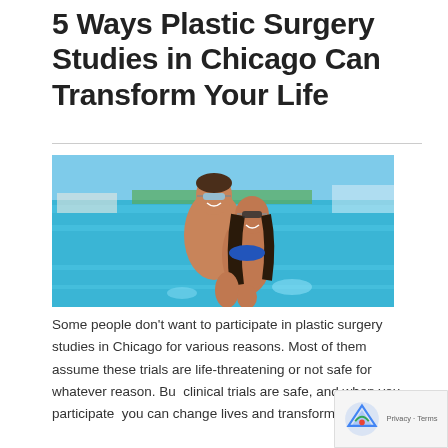5 Ways Plastic Surgery Studies in Chicago Can Transform Your Life
[Figure (photo): A couple at a pool or beach setting. A man with sunglasses smiling holds a woman in a blue bikini who is also smiling and wearing sunglasses. Bright blue water and sky background.]
Some people don't want to participate in plastic surgery studies in Chicago for various reasons. Most of them assume these trials are life-threatening or not safe for whatever reason. But clinical trials are safe, and when you participate, you can change lives and transform yours. We also in the 5 A ways To transport from the